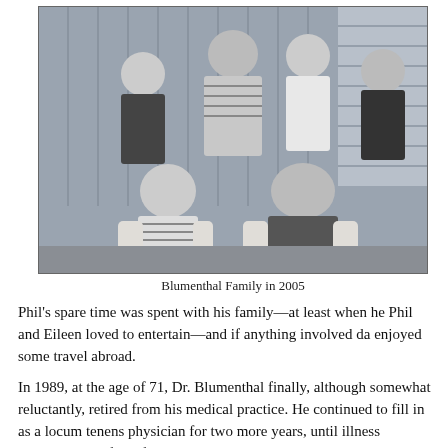[Figure (photo): Black and white family photo showing six people — two elderly people seated in chairs in the foreground holding hands, and four adults (two women and one man and one woman) standing behind them, against a wooden paneled wall and shuttered windows background. Labeled Blumenthal Family in 2005.]
Blumenthal Family in 2005
Phil's spare time was spent with his family—at least when he Phil and Eileen loved to entertain—and if anything involved da enjoyed some travel abroad.
In 1989, at the age of 71, Dr. Blumenthal finally, although somewhat reluctantly, retired from his medical practice. He continued to fill in as a locum tenens physician for two more years, until illness prevented him from further work.